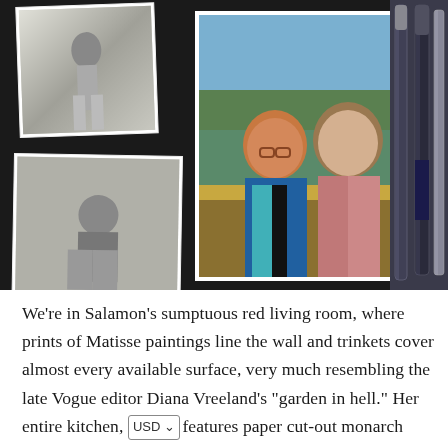[Figure (photo): Collage of photographs on a dark background: top-left is a black-and-white photo of a woman in a skirt standing outdoors; middle-left is a black-and-white photo of a person sitting with a camera or object; bottom-left is a black-and-white photo of two children near chairs; center-right is a color photo of two smiling women, one with red/auburn hair wearing glasses and a colorful jacket, the other with brown hair in a pink top; pens visible on the right side.]
We're in Salamon's sumptuous red living room, where prints of Matisse paintings line the wall and trinkets cover almost every available surface, very much resembling the late Vogue editor Diana Vreeland's "garden in hell." Her entire kitchen, features paper cut-out monarch butterflies attached to the ceiling.